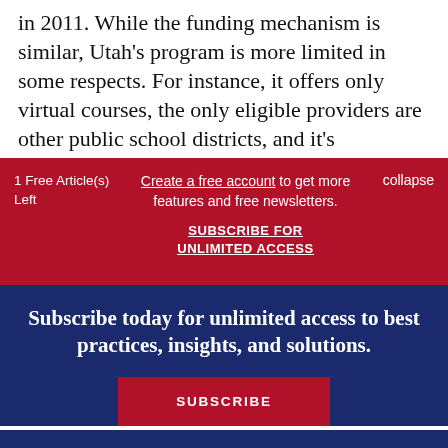in 2011. While the funding mechanism is similar, Utah's program is more limited in some respects. For instance, it offers only virtual courses, the only eligible providers are other public school districts, and it's
1 Free Article(s) Left
Create a free account to get more features and free newsletters.
SUBSCRIBE FOR UNLIMITED ACCESS
collapse
Subscribe today for unlimited access to best practices, insights, and solutions.
SUBSCRIBE